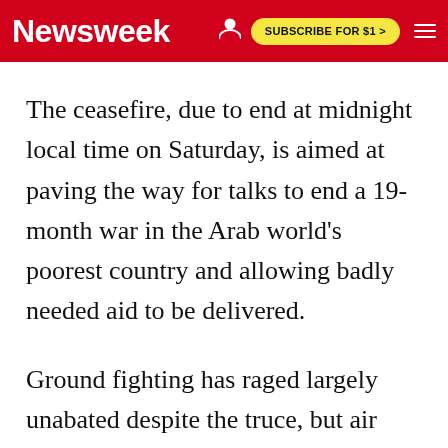Newsweek | SUBSCRIBE FOR $1 >
The ceasefire, due to end at midnight local time on Saturday, is aimed at paving the way for talks to end a 19-month war in the Arab world's poorest country and allowing badly needed aid to be delivered.
Ground fighting has raged largely unabated despite the truce, but air attacks on the capital, Sanaa, have stopped and there were fewer Houthi missile strikes on Saudi Arabia,